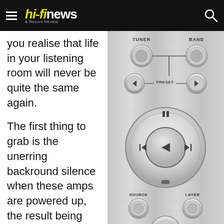hi-fi news & Record Review
you realise that life in your listening room will never be quite the same again.
The first thing to grab is the unerring backround silence when these amps are powered up, the result being that their dynamic capabilities seem almost endless once
[Figure (photo): Close-up of a brushed metal remote control panel showing buttons labeled TUNER, BAND, PRESET (with left/right arrows), a large circular navigation button with play/pause/skip controls, a small indicator light, SOURCE and LAYER buttons, and a partial circular button at bottom.]